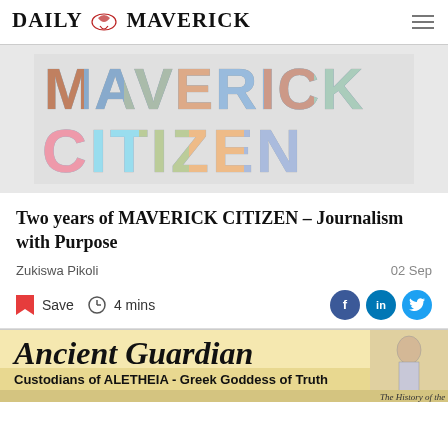DAILY MAVERICK
[Figure (photo): Maverick Citizen typographic banner where large letters MAVERICK CITIZEN are filled with a collage of photographs of people and places]
Two years of MAVERICK CITIZEN – Journalism with Purpose
Zukiswa Pikoli
02 Sep
Save   4 mins
[Figure (screenshot): Bottom newspaper strip showing 'Ancient Guardian' masthead with text 'Custodians of ALETHEIA - Greek Goddess of Truth' and 'The History of the...' with an image of a Greek goddess figure on the right]